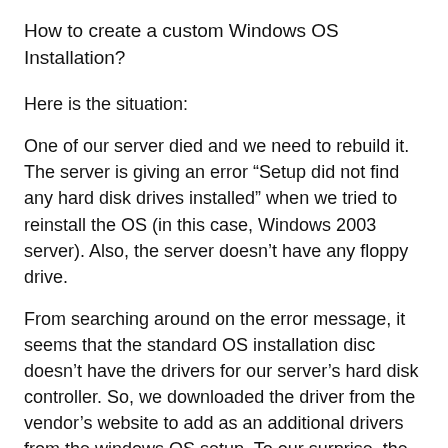How to create a custom Windows OS Installation?
Here is the situation:
One of our server died and we need to rebuild it. The server is giving an error “Setup did not find any hard disk drives installed” when we tried to reinstall the OS (in this case, Windows 2003 server). Also, the server doesn’t have any floppy drive.
From searching around on the error message, it seems that the standard OS installation disc doesn’t have the drivers for our server’s hard disk controller. So, we downloaded the driver from the vendor’s website to add as an additional drivers from the windows OS setup. To our surprise, the additional drivers option only accept drivers from a floppy drive. Doing a little more searching, another option is to add the driver into the Windows installation disc (Slipstreaming). Once we did that, the setup was able to see the hard disk and was